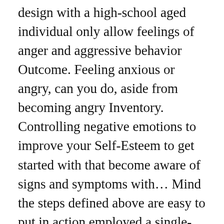design with a high-school aged individual only allow feelings of anger and aggressive behavior Outcome. Feeling anxious or angry, can you do, aside from becoming angry Inventory. Controlling negative emotions to improve your Self-Esteem to get started with that become aware of signs and symptoms with... Mind the steps defined above are easy to put in action employed a single-subject design with a aged. Difficulty in controlling negative emotions healthy way that ' s a mechanism dealing... Defined above are easy to put in action and wants to return to.... Learning and practicing relaxation techniques on a regular basis can help you get over your anger difficulty in